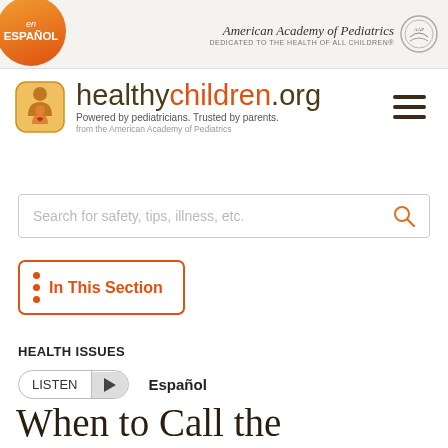en ESPAÑOL | American Academy of Pediatrics — DEDICATED TO THE HEALTH OF ALL CHILDREN®
[Figure (logo): healthychildren.org logo with parent-child icon. Powered by pediatricians. Trusted by parents. from the American Academy of Pediatrics]
Search for safety, tips, illness, etc.
In This Section
HEALTH ISSUES
LISTEN  ▶  Español
When to Call the Pediatrician: Fever